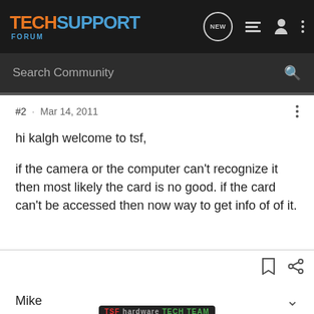TECH SUPPORT FORUM
Search Community
#2 · Mar 14, 2011
hi kalgh welcome to tsf,

if the camera or the computer can't recognize it then most likely the card is no good. if the card can't be accessed then now way to get info of of it.
Mike
[Figure (logo): TSF hardware tech team badge]